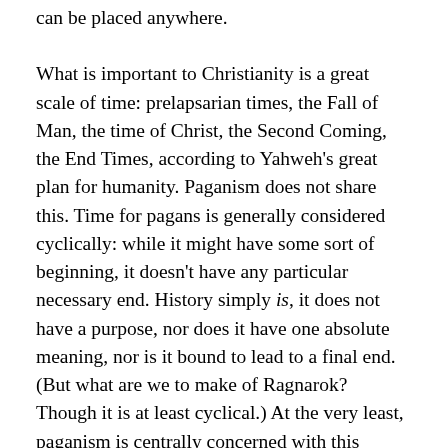can be placed anywhere.
What is important to Christianity is a great scale of time: prelapsarian times, the Fall of Man, the time of Christ, the Second Coming, the End Times, according to Yahweh's great plan for humanity. Paganism does not share this. Time for pagans is generally considered cyclically: while it might have some sort of beginning, it doesn't have any particular necessary end. History simply is, it does not have a purpose, nor does it have one absolute meaning, nor is it bound to lead to a final end. (But what are we to make of Ragnarok? Though it is at least cyclical.) At the very least, paganism is centrally concerned with this world, rather than one after death.
These roots to culture and place are, primarily, ancestral. For instance, to the Norse the souls of the dead became the landvaettr, land-wights, that is, spirits bound to particular places. (Valhalla is a later creation.) To the ancient Romans, religion was a civic duty that connected one to family, society